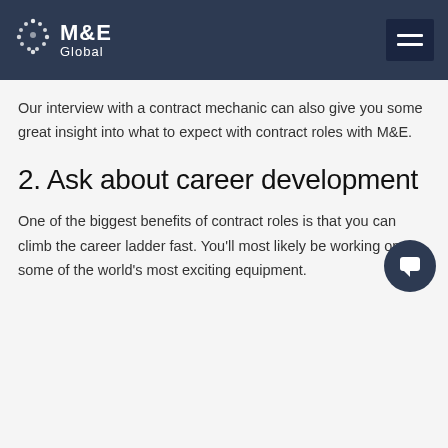M&E Global
Our interview with a contract mechanic can also give you some great insight into what to expect with contract roles with M&E.
2. Ask about career development
One of the biggest benefits of contract roles is that you can climb the career ladder fast. You'll most likely be working on some of the world's most exciting equipment.